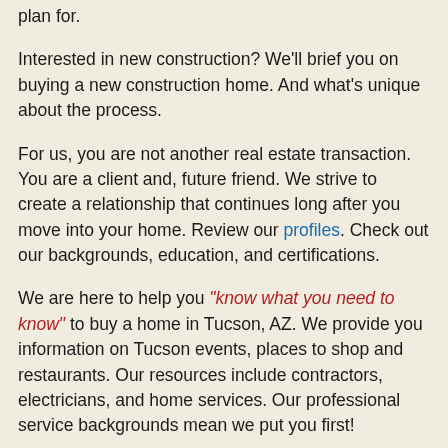plan for.
Interested in new construction? We'll brief you on buying a new construction home. And what's unique about the process.
For us, you are not another real estate transaction. You are a client and, future friend. We strive to create a relationship that continues long after you move into your home. Review our profiles. Check out our backgrounds, education, and certifications.
We are here to help you "know what you need to know" to buy a home in Tucson, AZ. We provide you information on Tucson events, places to shop and restaurants. Our resources include contractors, electricians, and home services. Our professional service backgrounds mean we put you first!
Conclusion